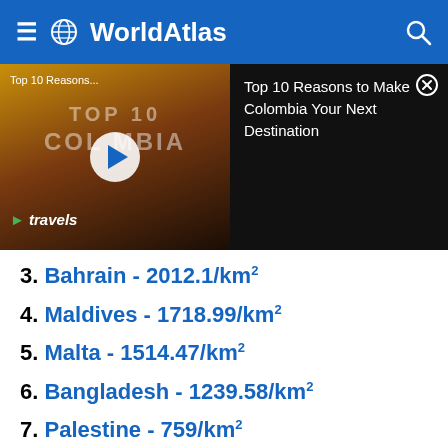WorldAtlas
[Figure (screenshot): Video thumbnail showing 'TOP 10 COLOMBIA' with a play button, and a panel showing 'Top 10 Reasons to Make Colombia Your Next Destination']
3. Bahrain - 2012.1/km²
4. Maldives - 1718.99/km²
5. Malta - 1514.47/km²
6. Bangladesh - 1239.58/km²
7. Palestine - 759/km²
8. Lebanon - 669.49/km²
9. Barbados - 666.61/km²
10. Nauru - 635.9/km²